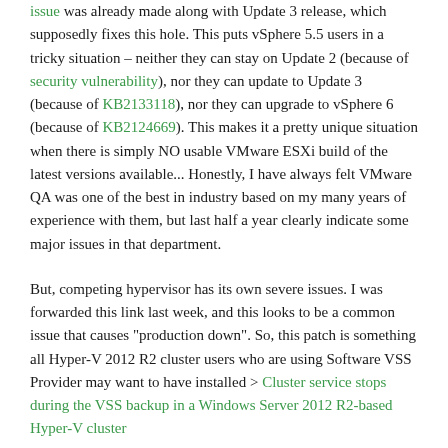issue was already made along with Update 3 release, which supposedly fixes this hole. This puts vSphere 5.5 users in a tricky situation – neither they can stay on Update 2 (because of security vulnerability), nor they can update to Update 3 (because of KB2133118), nor they can upgrade to vSphere 6 (because of KB2124669). This makes it a pretty unique situation when there is simply NO usable VMware ESXi build of the latest versions available... Honestly, I have always felt VMware QA was one of the best in industry based on my many years of experience with them, but last half a year clearly indicate some major issues in that department.
But, competing hypervisor has its own severe issues. I was forwarded this link last week, and this looks to be a common issue that causes "production down". So, this patch is something all Hyper-V 2012 R2 cluster users who are using Software VSS Provider may want to have installed > Cluster service stops during the VSS backup in a Windows Server 2012 R2-based Hyper-V cluster